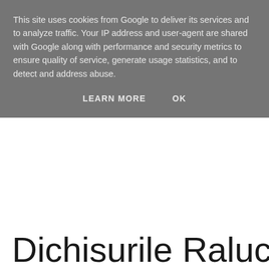This site uses cookies from Google to deliver its services and to analyze traffic. Your IP address and user-agent are shared with Google along with performance and security metrics to ensure quality of service, generate usage statistics, and to detect and address abuse.
LEARN MORE   OK
Dichisurile Ralucai